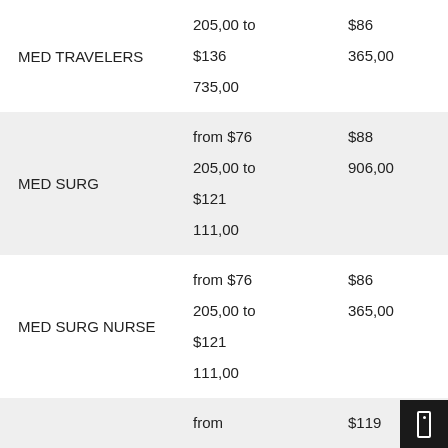| Category | Range From | Range To |
| --- | --- | --- |
| MED TRAVELERS | 205,00 to
$136
735,00 | $86
365,00 |
| MED SURG | from $76
205,00 to
$121
111,00 | $88
906,00 |
| MED SURG NURSE | from $76
205,00 to
$121
111,00 | $86
365,00 |
| TEAM DRIVER | from
$100
000,00 to
$119 | $119
952,00 |